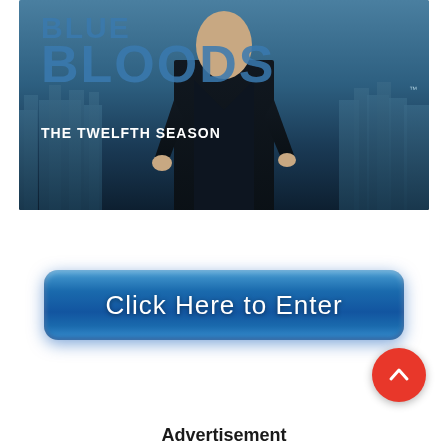[Figure (illustration): Blue Bloods The Twelfth Season TV show promotional image showing a man in a dark suit against a cityscape background with blue tones]
[Figure (illustration): A large blue rounded rectangular button with text 'Click Here to Enter']
[Figure (illustration): A red circular scroll-up button with a white chevron/arrow pointing upward]
Advertisement (partially visible at bottom)